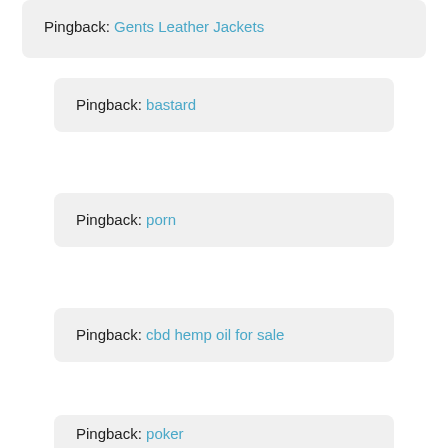Pingback: Gents Leather Jackets
Pingback: bastard
Pingback: porn
Pingback: cbd hemp oil for sale
Pingback: poker
Pingback: (partial)